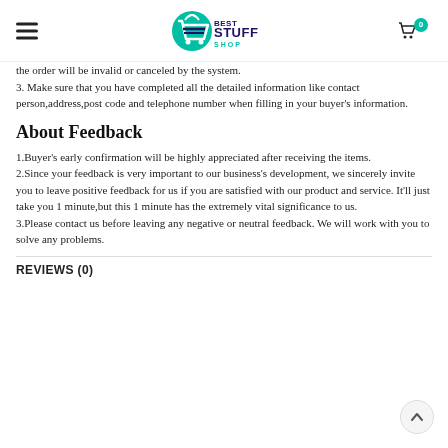Best Stuff Shop — navigation header with logo and cart
the order will be invalid or canceled by the system.
3. Make sure that you have completed all the detailed information like contact person,address,post code and telephone number when filling in your buyer's information.
About Feedback
1.Buyer's early confirmation will be highly appreciated after receiving the items.
2.Since your feedback is very important to our business's development, we sincerely invite you to leave positive feedback for us if you are satisfied with our product and service. It'll just take you 1 minute,but this 1 minute has the extremely vital significance to us.
3.Please contact us before leaving any negative or neutral feedback. We will work with you to solve any problems.
REVIEWS (0)